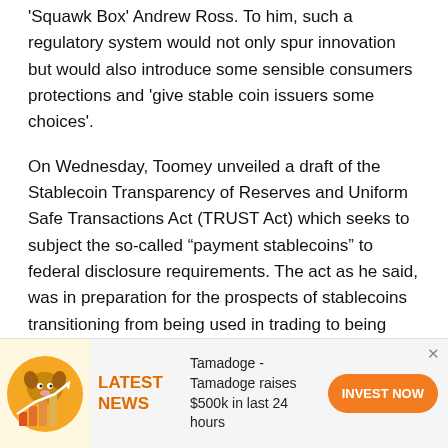Squawk Box' Andrew Ross. To him, such a regulatory system would not only spur innovation but would also introduce some sensible consumers protections and 'give stable coin issuers some choices'.
On Wednesday, Toomey unveiled a draft of the Stablecoin Transparency of Reserves and Uniform Safe Transactions Act (TRUST Act) which seeks to subject the so-called "payment stablecoins" to federal disclosure requirements. The act as he said, was in preparation for the prospects of stablecoins transitioning from being used in trading to being accepted in the economy as legal tender.
“Stablecoins are a tool that facilitates trade within the crypto world, but because of their price stability relative to the
[Figure (infographic): Advertisement banner for Tamadoge. Shows a coin icon with a dog graphic and upward chart, orange LATEST NEWS label, text 'Tamadoge - Tamadoge raises $500k in last 24 hours', and an orange INVEST NOW button.]